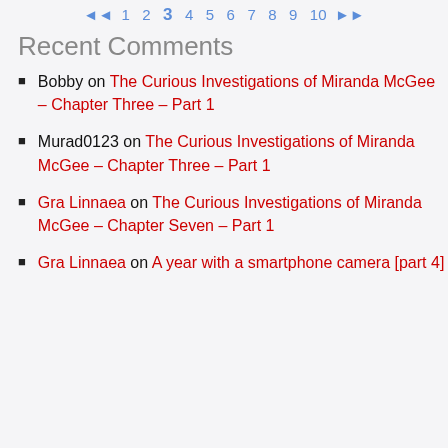◄◄ 1 2 3 4 5 6 7 8 9 10 ►►
Recent Comments
Bobby on The Curious Investigations of Miranda McGee – Chapter Three – Part 1
Murad0123 on The Curious Investigations of Miranda McGee – Chapter Three – Part 1
Gra Linnaea on The Curious Investigations of Miranda McGee – Chapter Seven – Part 1
Gra Linnaea on A year with a smartphone camera [part 4]